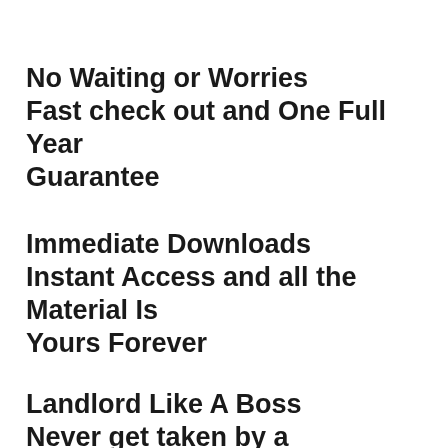No Waiting or Worries
Fast check out and One Full Year Guarantee
Immediate Downloads
Instant Access and all the Material Is Yours Forever
Landlord Like A Boss
Never get taken by a 'professional'